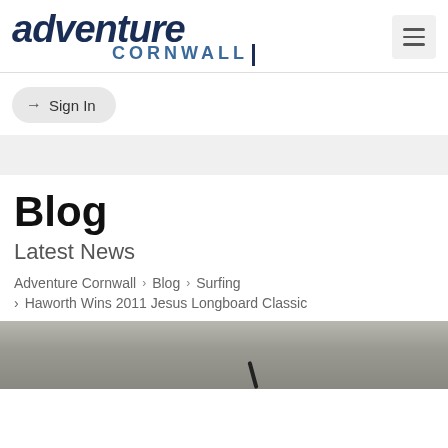[Figure (logo): Adventure Cornwall logo — 'adventure' in large dark navy italic bold text, 'CORNWALL' below in smaller spaced blue uppercase letters with a vertical bar]
Sign In
Blog
Latest News
Adventure Cornwall › Blog › Surfing › Haworth Wins 2011 Jesus Longboard Classic
[Figure (photo): Partial photo showing a surfing scene with a person raising their arm, gray overcast sky background]